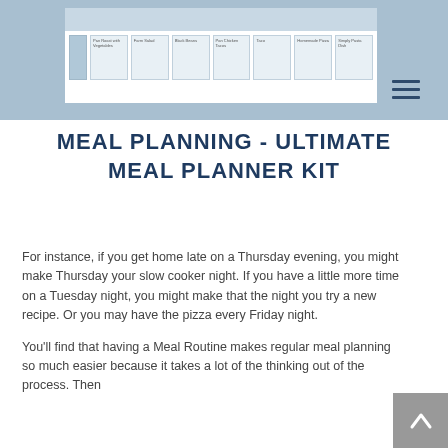[Figure (screenshot): Screenshot of a meal planner spreadsheet/table with days of the week columns, shown partially at the top of the page inside a blue-gray header area. A hamburger menu icon is visible at the right side.]
MEAL PLANNING - ULTIMATE MEAL PLANNER KIT
For instance, if you get home late on a Thursday evening, you might make Thursday your slow cooker night. If you have a little more time on a Tuesday night, you might make that the night you try a new recipe. Or you may have the pizza every Friday night.
You'll find that having a Meal Routine makes regular meal planning so much easier because it takes a lot of the thinking out of the process. Then